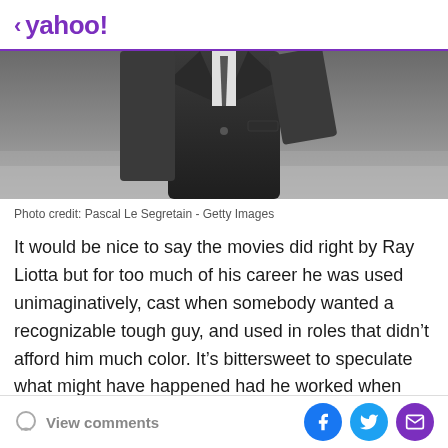< yahoo!
[Figure (photo): Black and white photo of a man in a suit, torso and arms visible, taken outdoors with blurred background]
Photo credit: Pascal Le Segretain - Getty Images
It would be nice to say the movies did right by Ray Liotta but for too much of his career he was used unimaginatively, cast when somebody wanted a recognizable tough guy, and used in roles that didn't afford him much color. It's bittersweet to speculate what might have happened had he worked when movies knew how to provide roles for the likes of him. Marvin or Palah...
View comments